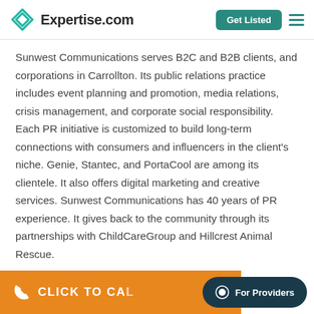Expertise.com | Get Listed
Sunwest Communications serves B2C and B2B clients, and corporations in Carrollton. Its public relations practice includes event planning and promotion, media relations, crisis management, and corporate social responsibility. Each PR initiative is customized to build long-term connections with consumers and influencers in the client's niche. Genie, Stantec, and PortaCool are among its clientele. It also offers digital marketing and creative services. Sunwest Communications has 40 years of PR experience. It gives back to the community through its partnerships with ChildCareGroup and Hillcrest Animal Rescue.
CLICK TO CALL
For Providers